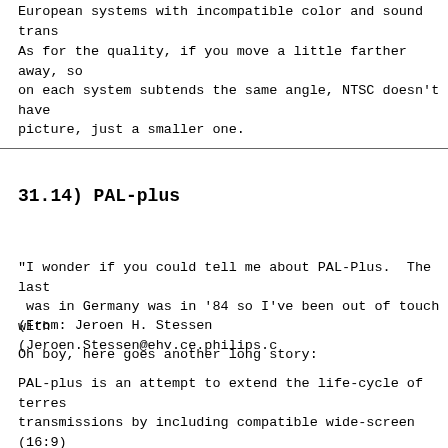European systems with incompatible color and sound trans
As for the quality, if you move a little farther away, so
on each system subtends the same angle, NTSC doesn't have
picture, just a smaller one.
31.14)  PAL-plus
"I wonder if you could tell me about PAL-Plus.  The last
 was in Germany was in '84 so I've been out of touch with
(From: Jeroen H. Stessen (Jeroen.Stessen@ehv.ce.philips.c
Oh boy, here goes another long story:
PAL-plus is an attempt to extend the life-cycle of terres
transmissions by including compatible wide-screen (16:9)
is an advanced variant of the letterbox format, this mear
receive a PAL-plus widescreen program on an older 4:3 rec
black bars top and bottom.  It was originally developed